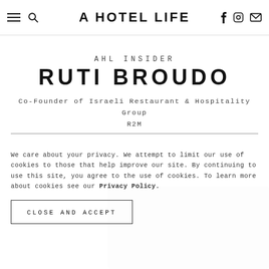A HOTEL LIFE
AHL INSIDER
RUTI BROUDO
Co-Founder of Israeli Restaurant & Hospitality Group R2M
We care about your privacy. We attempt to limit our use of cookies to those that help improve our site. By continuing to use this site, you agree to the use of cookies. To learn more about cookies see our Privacy Policy.
CLOSE AND ACCEPT